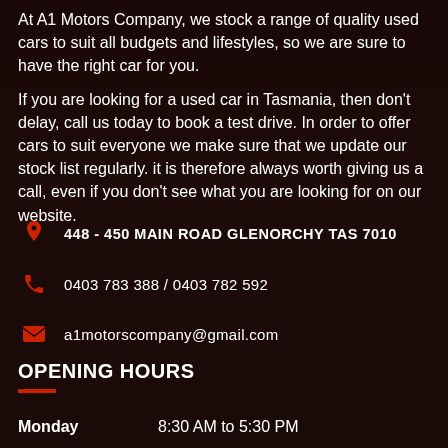At A1 Motors Company, we stock a range of quality used cars to suit all budgets and lifestyles, so we are sure to have the right car for you.
If you are looking for a used car in Tasmania, then don't delay, call us today to book a test drive. In order to offer cars to suit everyone we make sure that we update our stock list regularly. it is therefore always worth giving us a call, even if you don't see what you are looking for on our website.
448 - 450 MAIN ROAD GLENORCHY TAS 7010
0403 783 388 / 0403 782 592
a1motorscompany@gmail.com
OPENING HOURS
Monday    8:30 AM to 5:30 PM